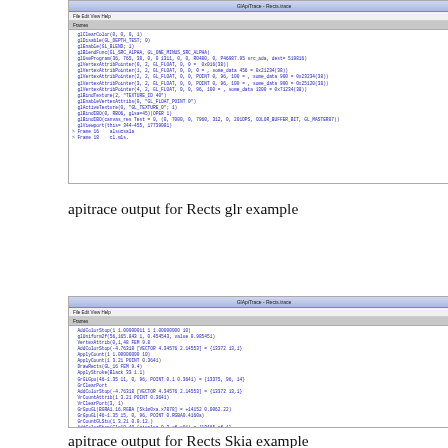[Figure (screenshot): Screenshot of GlApiTrace application window showing API trace log output for a Rects example, with blue monospace text listing OpenGL API calls]
apitrace output for Rects glr example
[Figure (screenshot): Screenshot of GlApiTrace application window showing API trace log output for a Rects Skia example, with blue monospace text listing OpenGL API calls with more entries]
apitrace output for Rects Skia example